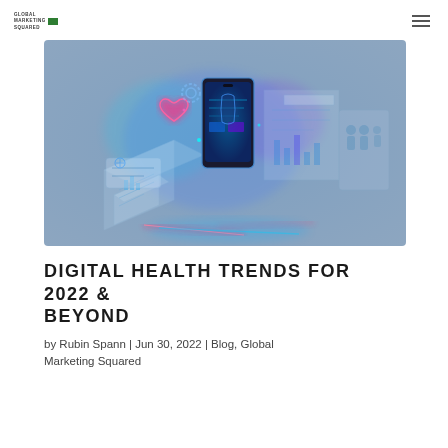Global Marketing Squared
[Figure (illustration): Digital health technology illustration showing a smartphone with holographic medical and data interface elements floating around it in blue and pink neon tones on a blue-grey background, rendered in isometric style.]
DIGITAL HEALTH TRENDS FOR 2022 & BEYOND
by Rubin Spann | Jun 30, 2022 | Blog, Global Marketing Squared